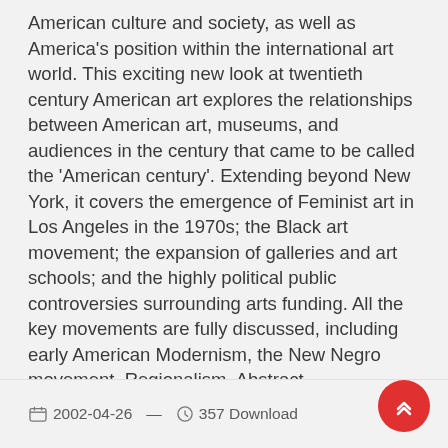American culture and society, as well as America's position within the international art world. This exciting new look at twentieth century American art explores the relationships between American art, museums, and audiences in the century that came to be called the 'American century'. Extending beyond New York, it covers the emergence of Feminist art in Los Angeles in the 1970s; the Black art movement; the expansion of galleries and art schools; and the highly political public controversies surrounding arts funding. All the key movements are fully discussed, including early American Modernism, the New Negro movement, Regionalism, Abstract Expressionism, Pop Art, and Neo-Expressionism.
2002-04-26 — 357 Download